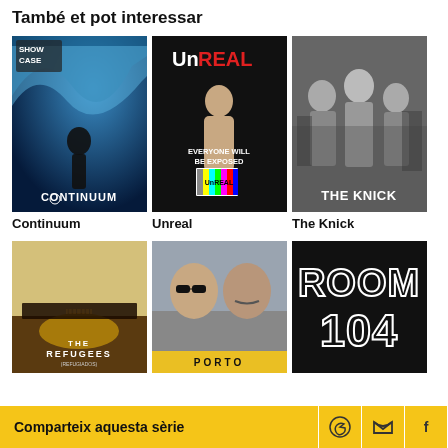També et pot interessar
[Figure (photo): Continuum TV show poster — ShowCase logo, woman in black bodysuit, blue wave background, CONTINUUM text]
[Figure (photo): UnREAL TV show poster — woman in red text UnREAL, EVERYONE WILL BE EXPOSED, colorbar clapperboard]
[Figure (photo): The Knick TV show poster — black and white, three people, THE KNICK text]
Continuum
Unreal
The Knick
[Figure (photo): The Refugees (Refugiados) TV show poster — yellow beige background with silhouette row of people, THE REFUGEES text]
[Figure (photo): Porto or similar TV show poster — two men facing camera, one with sunglasses]
[Figure (photo): Room 104 TV show poster — black background, ROOM 104 in large outlined text]
Comparteix aquesta sèrie